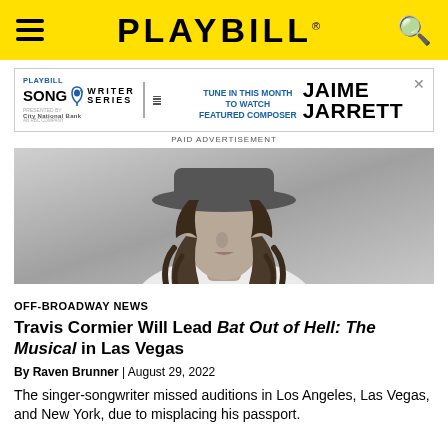PLAYBILL
[Figure (infographic): Playbill Songwriter Series presented by City National Bank advertisement — Tune in this month to watch featured composer Jaime Jarrett]
PAID ADVERTISEMENT
[Figure (photo): Black and white portrait photo of Travis Cormier, a person with long wavy hair and a wide-brimmed hat, wearing a white shirt, photographed from shoulders up against a grey background]
OFF-BROADWAY NEWS
Travis Cormier Will Lead Bat Out of Hell: The Musical in Las Vegas
By Raven Brunner | August 29, 2022
The singer-songwriter missed auditions in Los Angeles, Las Vegas, and New York, due to misplacing his passport.